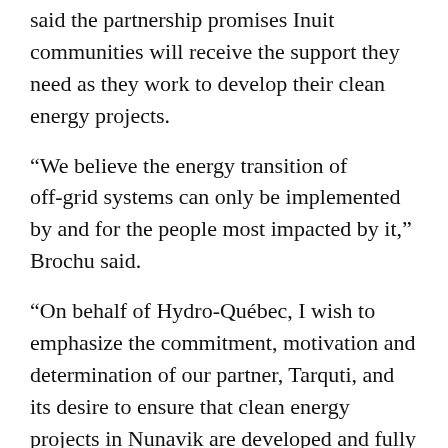said the partnership promises Inuit communities will receive the support they need as they work to develop their clean energy projects.
“We believe the energy transition of off-grid systems can only be implemented by and for the people most impacted by it,” Brochu said.
“On behalf of Hydro-Québec, I wish to emphasize the commitment, motivation and determination of our partner, Tarquti, and its desire to ensure that clean energy projects in Nunavik are developed and fully owned and operated by local and regional communities.”
Tarquti Energy Inc. is a 100 per cent Inuit-owned company created five years ago as a joint venture between Makivik Corp. and la Federation des Cooperatives du Nouveau Quebec.